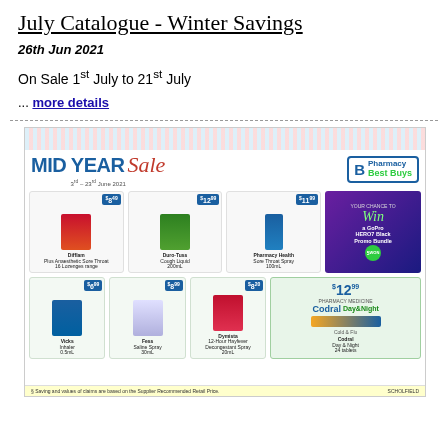July Catalogue - Winter Savings
26th Jun 2021
On Sale 1st July to 21st July
... more details
[Figure (photo): Pharmacy Best Buys Mid Year Sale catalogue cover showing various pharmacy products including Difflam, Duro-Tuss, Pharmacy Health sprays, Vicks inhaler, Fess nasal spray, Dymista spray, and Codral Day & Night with prices, plus a chance to win a GoPro HERO7 Black Promo Bundle.]